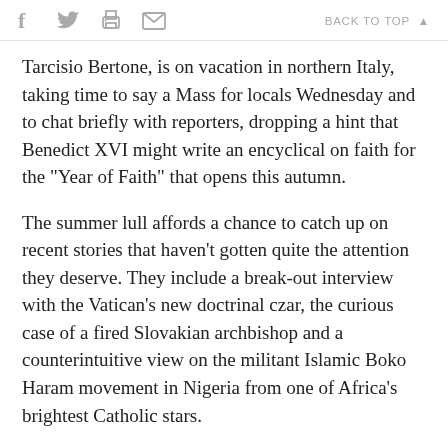f  [twitter]  [print]  [mail]  BACK TO TOP ▲
Tarcisio Bertone, is on vacation in northern Italy, taking time to say a Mass for locals Wednesday and to chat briefly with reporters, dropping a hint that Benedict XVI might write an encyclical on faith for the "Year of Faith" that opens this autumn.
The summer lull affords a chance to catch up on recent stories that haven't gotten quite the attention they deserve. They include a break-out interview with the Vatican's new doctrinal czar, the curious case of a fired Slovakian archbishop and a counterintuitive view on the militant Islamic Boko Haram movement in Nigeria from one of Africa's brightest Catholic stars.
Here's a teaser: One of these stories raises the provocative question of whether sweatpants on a bishop are a sign of trouble.